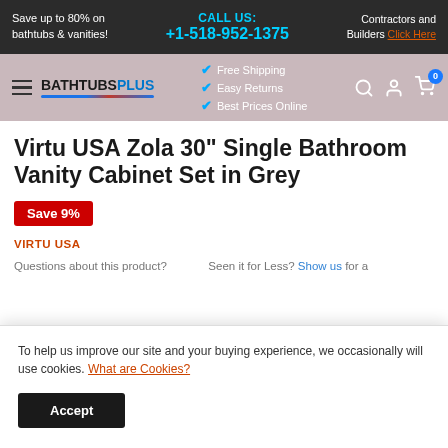Save up to 80% on bathtubs & vanities! | CALL US: +1-518-952-1375 | Contractors and Builders Click Here
[Figure (logo): BathtubsPlus logo with hamburger menu, checkmarks for Free Shipping, Easy Returns, Best Prices Online, search/user/cart icons]
Virtu USA Zola 30" Single Bathroom Vanity Cabinet Set in Grey
Save 9%
VIRTU USA
Questions about this product? Seen it for Less? Show us for a
To help us improve our site and your buying experience, we occasionally will use cookies. What are Cookies?
Accept